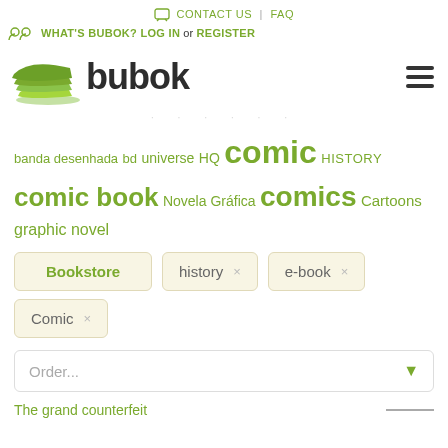CONTACT US | FAQ
WHAT'S BUBOK? LOG IN or REGISTER
[Figure (logo): Bubok logo with stacked green pages icon and dark brown 'bubok' text, plus hamburger menu icon on the right]
banda desenhada bd universe HQ comic HISTORY comic book Novela Gráfica comics Cartoons graphic novel
Bookstore  history ×  e-book ×
Comic ×
Order...
The grand counterfeit